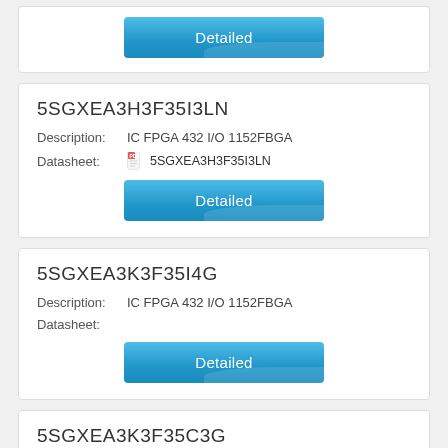[Figure (screenshot): Top partial card showing a 'Detailed' blue button at the top of the page]
5SGXEA3H3F35I3LN
Description:   IC FPGA 432 I/O 1152FBGA
Datasheet:   5SGXEA3H3F35I3LN
[Figure (screenshot): Detailed blue button for 5SGXEA3H3F35I3LN]
5SGXEA3K3F35I4G
Description:   IC FPGA 432 I/O 1152FBGA
Datasheet:
[Figure (screenshot): Detailed blue button for 5SGXEA3K3F35I4G]
5SGXEA3K3F35C3G